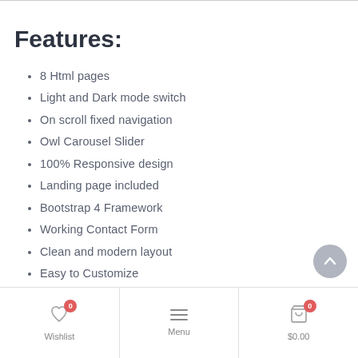Features:
8 Html pages
Light and Dark mode switch
On scroll fixed navigation
Owl Carousel Slider
100% Responsive design
Landing page included
Bootstrap 4 Framework
Working Contact Form
Clean and modern layout
Easy to Customize
Google web fonts used
And many more…
Wishlist 0  Menu  $0.00 0